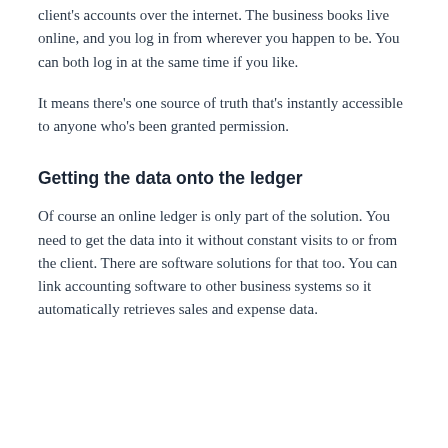client's accounts over the internet. The business books live online, and you log in from wherever you happen to be. You can both log in at the same time if you like.
It means there's one source of truth that's instantly accessible to anyone who's been granted permission.
Getting the data onto the ledger
Of course an online ledger is only part of the solution. You need to get the data into it without constant visits to or from the client. There are software solutions for that too. You can link accounting software to other business systems so it automatically retrieves sales and expense data.